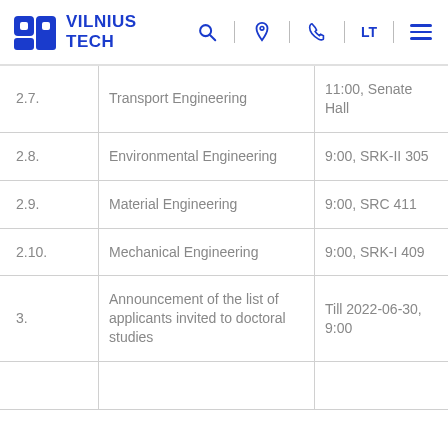[Figure (logo): Vilnius Tech university logo with blue geometric icon and bold blue text 'VILNIUS TECH' with navigation icons]
|  |  |  |
| --- | --- | --- |
| 2.7. | Transport Engineering | 11:00, Senate Hall |
| 2.8. | Environmental Engineering | 9:00, SRK-II 305 |
| 2.9. | Material Engineering | 9:00, SRC 411 |
| 2.10. | Mechanical Engineering | 9:00, SRK-I 409 |
| 3. | Announcement of the list of applicants invited to doctoral studies | Till 2022-06-30, 9:00 |